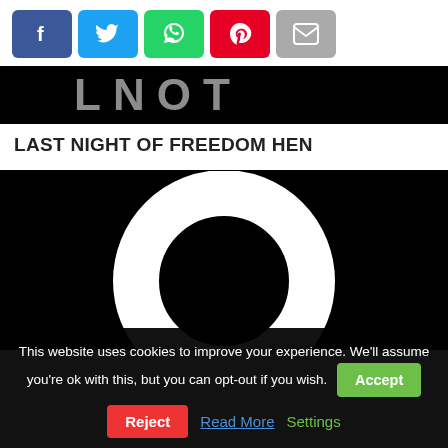[Figure (other): Social share buttons row: Facebook (blue), Twitter (cyan), WhatsApp (green), Pinterest (red), Email (grey)]
[Figure (other): Black banner with white bold text partially visible, showing 'LNOT' style letters]
LAST NIGHT OF FREEDOM HEN
[Figure (other): Black image with a large white circle/ring logo in the center]
This website uses cookies to improve your experience. We'll assume you're ok with this, but you can opt-out if you wish.
Accept  Reject  Read More  Settings